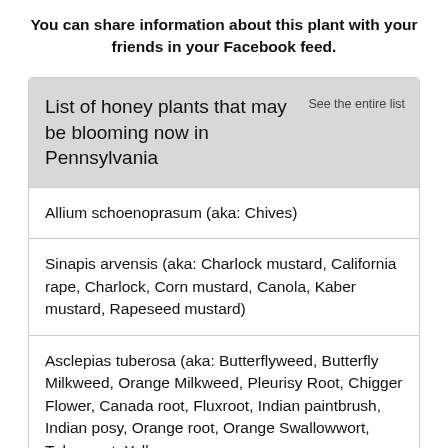You can share information about this plant with your friends in your Facebook feed.
List of honey plants that may be blooming now in Pennsylvania
Allium schoenoprasum (aka: Chives)
Sinapis arvensis (aka: Charlock mustard, California rape, Charlock, Corn mustard, Canola, Kaber mustard, Rapeseed mustard)
Asclepias tuberosa (aka: Butterflyweed, Butterfly Milkweed, Orange Milkweed, Pleurisy Root, Chigger Flower, Canada root, Fluxroot, Indian paintbrush, Indian posy, Orange root, Orange Swallowwort, Tuber root, Yellow...